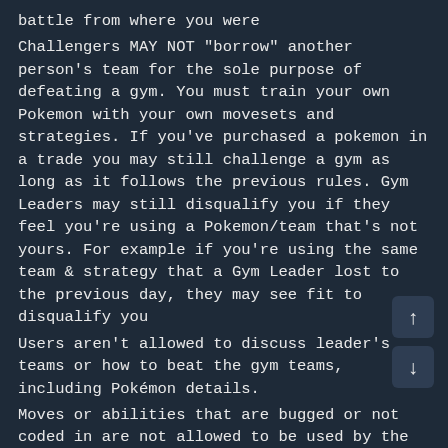battle from where you were
Challengers MAY NOT "borrow" another person's team for the sole purpose of defeating a gym. You must train your own Pokemon with your own movesets and strategies. If you've purchased a pokemon in a trade you may still challenge a gym as long as it follows the previous rules. Gym Leaders may still disqualify you if they feel you're using a Pokemon/team that's not yours. For example if you're using the same team & strategy that a Gym Leader lost to the previous day, they may see fit to disqualify you
Users aren't allowed to discuss leader's teams or how to beat the gym teams, including Pokémon details.
Moves or abilities that are bugged or not coded in are not allowed to be used by the Challenger or Leader.
Sleep, Evasion, Baton pass, and Bag, clauses to be used in battle
Banned Moves Destiny Bond, Assist.
The combination of Prankster, lagging tail, and Copycat